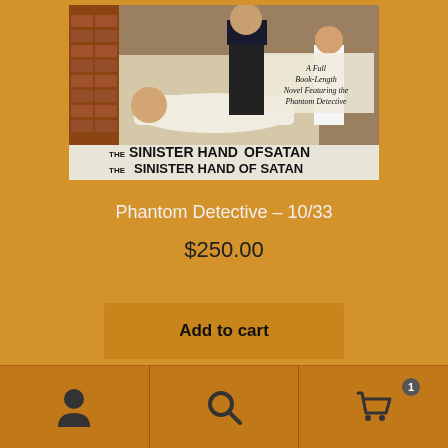[Figure (illustration): Vintage pulp fiction book cover for 'The Sinister Hand of Satan' featuring the Phantom Detective. Shows a man pulling a white sheet off a body lying on a table, with brick wall background. Bottom banner reads 'THE SINISTER HAND OF SATAN'. Upper right text reads 'A Full Book-Length Novel Featuring the Phantom Detective'.]
Phantom Detective – 10/33
$250.00
Add to cart